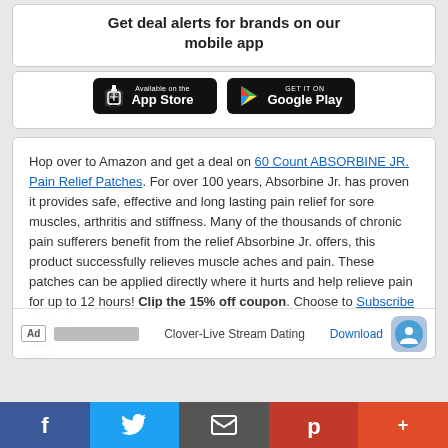Get deal alerts for brands on our mobile app
[Figure (infographic): App Store and Google Play download buttons on black rounded rectangle backgrounds]
Hop over to Amazon and get a deal on 60 Count ABSORBINE JR. Pain Relief Patches. For over 100 years, Absorbine Jr. has proven it provides safe, effective and long lasting pain relief for sore muscles, arthritis and stiffness. Many of the thousands of chronic pain sufferers benefit from the relief Absorbine Jr. offers, this product successfully relieves muscle aches and pain. These patches can be applied directly where it hurts and help relieve pain for up to 12 hours! Clip the 15% off coupon. Choose to Subscribe & Save, and have...
[Figure (infographic): Ad overlay banner: Ad badge, placeholder bar, Clover-Live Stream Dating text, Download link, app icon]
f  Twitter  email  p  +